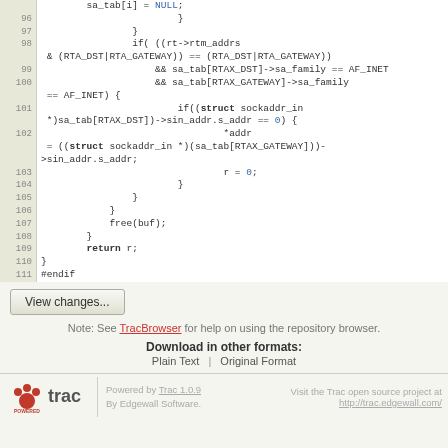[Figure (screenshot): Source code viewer showing lines 96-111 of C code with line numbers, keywords in bold, numeric literals highlighted in blue]
View changes...
Note: See TracBrowser for help on using the repository browser.
Download in other formats:
Plain Text | Original Format
Powered by Trac 1.0.9 By Edgewall Software. Visit the Trac open source project at http://trac.edgewall.com/